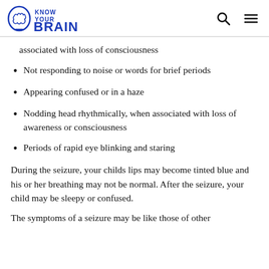Know Your Brain
associated with loss of consciousness
Not responding to noise or words for brief periods
Appearing confused or in a haze
Nodding head rhythmically, when associated with loss of awareness or consciousness
Periods of rapid eye blinking and staring
During the seizure, your childs lips may become tinted blue and his or her breathing may not be normal. After the seizure, your child may be sleepy or confused.
The symptoms of a seizure may be like those of other